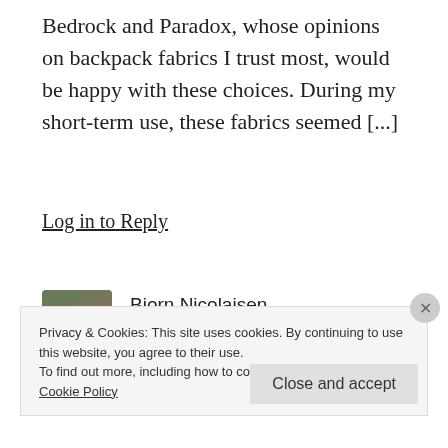Bedrock and Paradox, whose opinions on backpack fabrics I trust most, would be happy with these choices. During my short-term use, these fabrics seemed [...]
Log in to Reply
Bjorn Nicolaisen (@Bjornnicolaisen)
February 26, 2019 at 10:44 am
Privacy & Cookies: This site uses cookies. By continuing to use this website, you agree to their use.
To find out more, including how to control cookies, see here: Cookie Policy
Close and accept